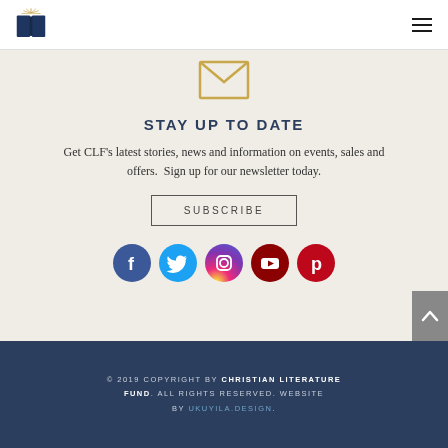CLF logo and navigation
[Figure (illustration): Envelope icon outline in gold/tan color]
STAY UP TO DATE
Get CLF's latest stories, news and information on events, sales and offers.  Sign up for our newsletter today.
SUBSCRIBE
[Figure (infographic): Social media icons: Facebook (blue), Twitter (cyan), Instagram (pink/red gradient), YouTube (dark red), Pinterest (red)]
© 2019 COPYRIGHT BY CHRISTIAN LITERATURE FUND. ALL RIGHTS RESERVED. WEBSITE BY UKUYILA.DESIGN.